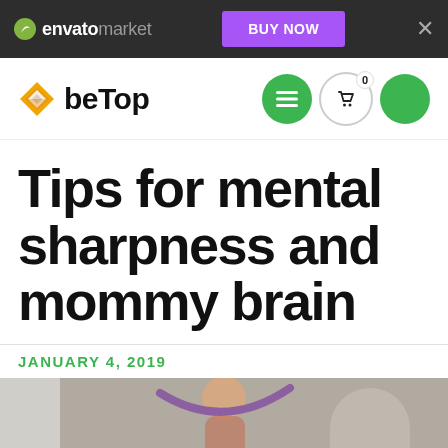envato market — BUY NOW
[Figure (logo): beTop logo with diamond arrow icon and navigation icons (hamburger menu, cart, green circle)]
Tips for mental sharpness and mommy brain
JANUARY 4, 2019
[Figure (photo): Person exercising with resistance band in a gym setting]